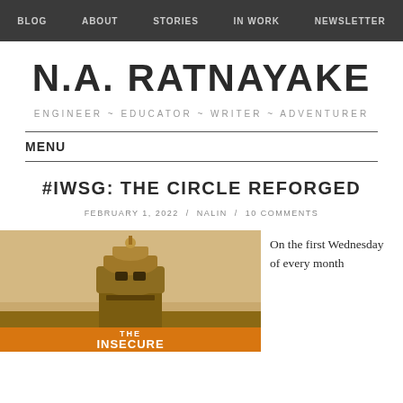BLOG   ABOUT   STORIES   IN WORK   NEWSLETTER
N.A. RATNAYAKE
ENGINEER ~ EDUCATOR ~ WRITER ~ ADVENTURER
MENU
#IWSG: THE CIRCLE REFORGED
FEBRUARY 1, 2022 / NALIN / 10 COMMENTS
[Figure (illustration): Book cover for The Insecure Writers Support Group showing a lighthouse-like structure with orange text at the bottom reading THE INSECURE]
On the first Wednesday of every month